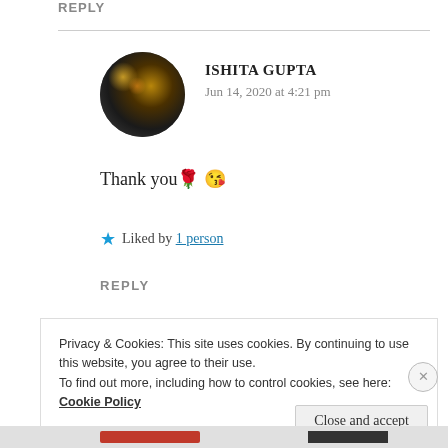REPLY
ISHITA GUPTA
Jun 14, 2020 at 4:21 pm
Thank you🌹😘
★ Liked by 1 person
REPLY
Privacy & Cookies: This site uses cookies. By continuing to use this website, you agree to their use.
To find out more, including how to control cookies, see here: Cookie Policy
Close and accept